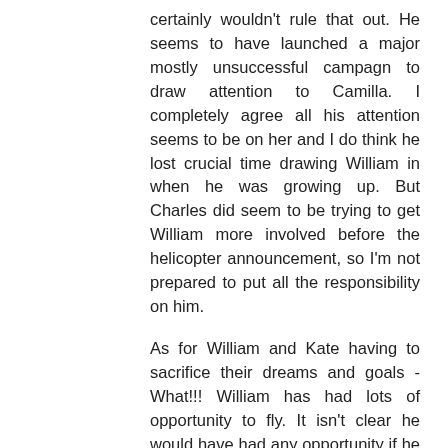certainly wouldn't rule that out. He seems to have launched a major mostly unsuccessful campagn to draw attention to Camilla. I completely agree all his attention seems to be on her and I do think he lost crucial time drawing William in when he was growing up. But Charles did seem to be trying to get William more involved before the helicopter announcement, so I'm not prepared to put all the responsibility on him.
As for William and Kate having to sacrifice their dreams and goals - What!!! William has had lots of opportunity to fly. It isn't clear he would have had any opportunity if he hadn't been royal. And he continues to be able to - putting the monarchy at risk as he does (imagine the headlines if someone's family member dies on his watch.)
As for Kate, no one really knows how hard she worked or didn't work for her family - we will never know but we do know she had lots of